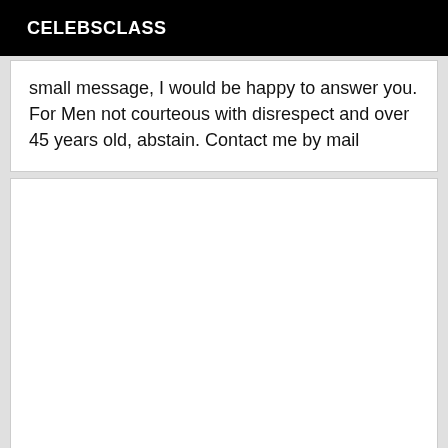CELEBSCLASS
small message, I would be happy to answer you. For Men not courteous with disrespect and over 45 years old, abstain. Contact me by mail
[Figure (other): Empty white card/box placeholder]